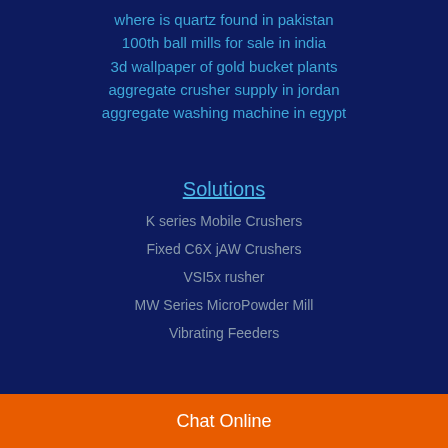where is quartz found in pakistan
100th ball mills for sale in india
3d wallpaper of gold bucket plants
aggregate crusher supply in jordan
aggregate washing machine in egypt
Solutions
K series Mobile Crushers
Fixed C6X jAW Crushers
VSI5x rusher
MW Series MicroPowder Mill
Vibrating Feeders
Chat Online